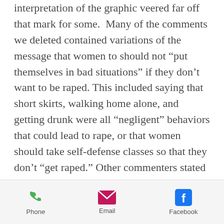interpretation of the graphic veered far off that mark for some.  Many of the comments we deleted contained variations of the message that women to should not “put themselves in bad situations” if they don’t want to be raped. This included saying that short skirts, walking home alone, and getting drunk were all “negligent” behaviors that could lead to rape, or that women should take self-defense classes so that they don’t “get raped.” Other commenters stated that rape victims have to accept responsibility for their choices, and not just put the blame
Phone | Email | Facebook